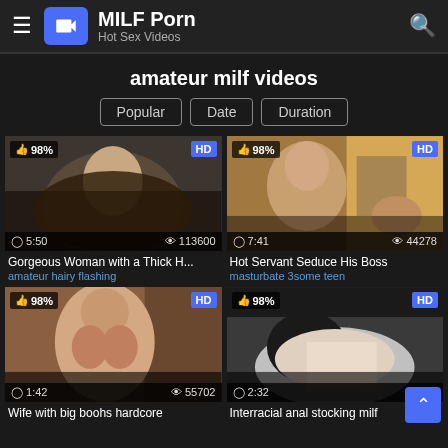MILF Porn - Hot Sex Videos
amateur milf videos
Popular | Date | Duration
[Figure (screenshot): Video thumbnail: Gorgeous Woman with a Thick H... — 5:50 duration, 113600 views, 98% rating, HD]
Gorgeous Woman with a Thick H...
amateur hairy flashing
[Figure (screenshot): Video thumbnail: Hot Servant Seduce His Boss — 7:41 duration, 44278 views, 98% rating, HD]
Hot Servant Seduce His Boss
masturbate 3some teen
[Figure (screenshot): Video thumbnail: Wife with big boobs hardcore — 1:42 duration, 55702 views, 98% rating, HD]
Wife with big boohs hardcore
[Figure (screenshot): Video thumbnail: Interracial anal stocking milf — 2:32 duration, 98% rating, HD]
Interracial anal stocking milf